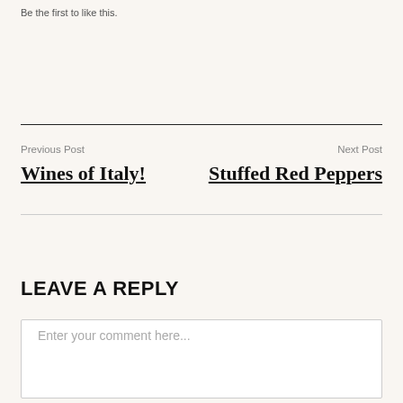Be the first to like this.
Previous Post
Next Post
Wines of Italy!
Stuffed Red Peppers
LEAVE A REPLY
Enter your comment here...